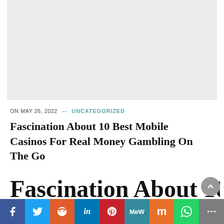[Figure (other): Gray advertisement placeholder box at the top of the page]
ON MAY 26, 2022 — UNCATEGORIZED
Fascination About 10 Best Mobile Casinos For Real Money Gambling On The Go
Fascination About 10
Social sharing bar: Facebook, Twitter, Reddit, LinkedIn, Pinterest, MeWe, Mix, WhatsApp, More